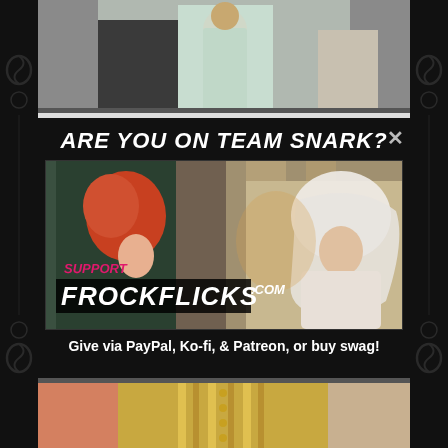[Figure (photo): Top strip showing a woman in a light mint/white Regency-era dress with people in background]
ARE YOU ON TEAM SNARK?
[Figure (photo): Film still showing two women: one with red hair in dark green hood/cloak, one in white veil/bridal headdress. Overlay text reads SUPPORT FROCKFLICKS.COM]
Give via PayPal, Ko-fi, & Patreon, or buy swag!
[Figure (photo): Bottom strip showing ornate gold and pink period costume details]